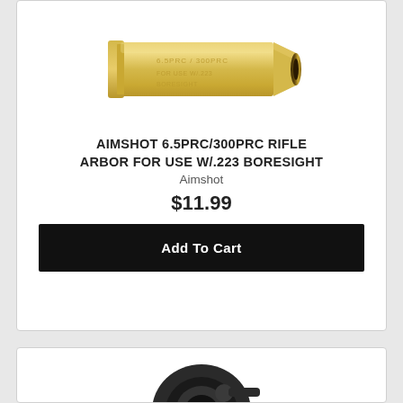[Figure (photo): Brass/gold colored cylindrical rifle arbor cartridge component on white background]
AIMSHOT 6.5PRC/300PRC RIFLE ARBOR FOR USE W/.223 BORESIGHT
Aimshot
$11.99
Add To Cart
[Figure (photo): Partial view of a second product (appears to be a rifle scope or similar optic) shown at bottom of page]